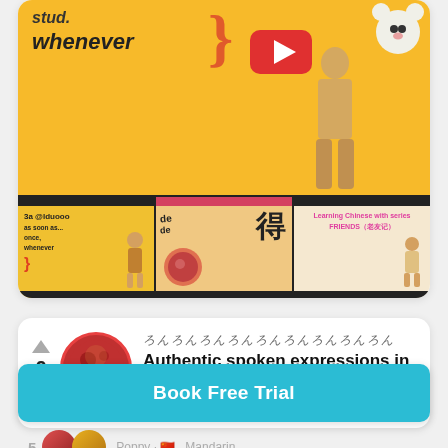[Figure (screenshot): YouTube channel or lesson page screenshot showing a yellow banner with text 'whenever' and decorative elements, plus a strip of three video thumbnails below]
Authentic spoken expressions in Chinese
Poppy · 🇨🇳 Mandarin
[Figure (screenshot): Book Free Trial button - cyan/teal colored button]
Book Free Trial
Poppy · 🇨🇳 Mandarin